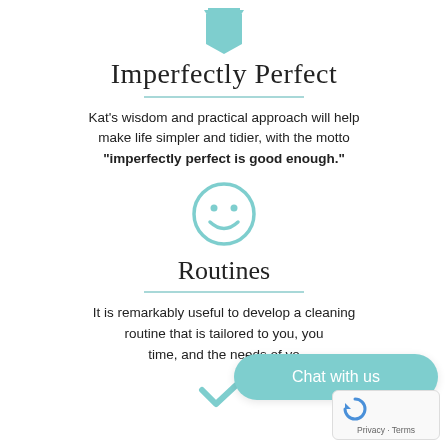[Figure (illustration): Teal downward-pointing bookmark/ribbon icon at top center]
Imperfectly Perfect
Kat's wisdom and practical approach will help make life simpler and tidier, with the motto "imperfectly perfect is good enough."
[Figure (illustration): Teal smiley face circle icon]
Routines
It is remarkably useful to develop a cleaning routine that is tailored to you, you time, and the needs of yo...
[Figure (illustration): Teal checkmark icon at bottom center]
Chat with us